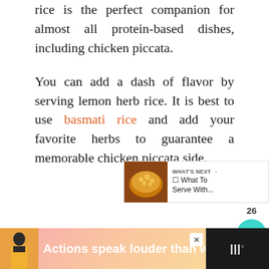rice is the perfect companion for almost all protein-based dishes, including chicken piccata.
You can add a dash of flavor by serving lemon herb rice. It is best to use basmati rice and add your favorite herbs to guarantee a memorable chicken piccata side.
[Figure (screenshot): Social interaction sidebar with heart/like button, share count of 26, and teal share button]
[Figure (screenshot): What's Next panel showing a food thumbnail and text 'What To Serve With...']
[Figure (screenshot): Advertisement banner with text 'Actions speak louder than words.' with a person figure on pink/orange gradient background]